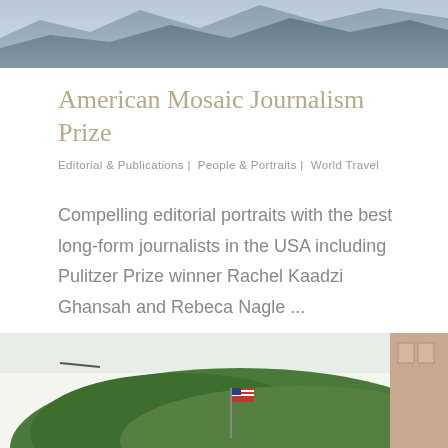[Figure (photo): Mountain landscape photo at top of page, blue-grey misty mountains]
American Mosaic Journalism Prize
Editorial & Publications  |  People & Portraits  |  World Travel
Compelling editorial portraits with the best long-form journalists in the USA including Pulitzer Prize winner Rachel Kaadzi Ghansah and Rebeca Nagle ...
READ MORE →
[Figure (photo): Bottom photo showing green trees/bushes with an American flag and partial view of a building on the right]